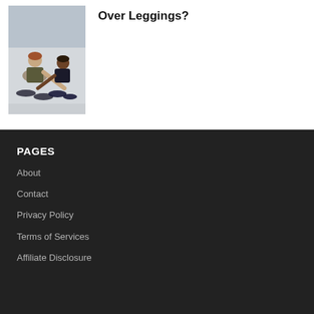[Figure (photo): Two women doing stretching/floor exercises in a gym setting]
Over Leggings?
PAGES
About
Contact
Privacy Policy
Terms of Services
Affiliate Disclosure